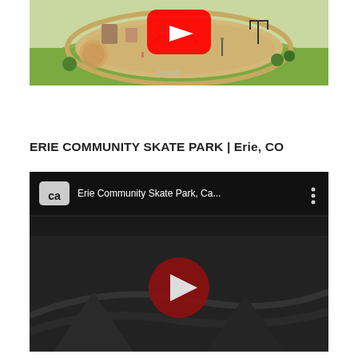[Figure (photo): Aerial view of a community park with curved pathways, play equipment, green grass, and trees. A red YouTube play button overlay is visible in the upper center.]
ERIE COMMUNITY SKATE PARK | Erie, CO
[Figure (screenshot): YouTube video thumbnail showing Erie Community Skate Park, Ca... with a CA channel logo, three-dot menu icon, dark background showing skate park ramps, and a dark red play button in the center.]